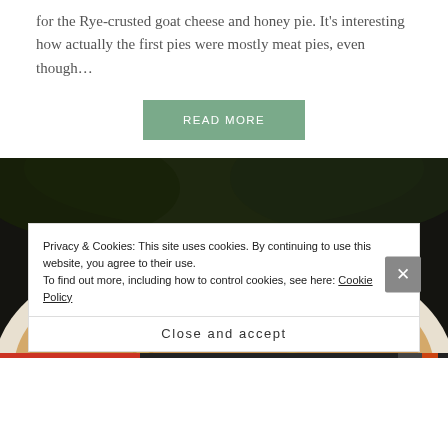for the Rye-crusted goat cheese and honey pie. It's interesting how actually the first pies were mostly meat pies, even though…
READ MORE
[Figure (photo): Close-up photo of a round pie topped with pine nuts on parchment paper, dark background foliage visible behind]
Privacy & Cookies: This site uses cookies. By continuing to use this website, you agree to their use.
To find out more, including how to control cookies, see here: Cookie Policy
Close and accept